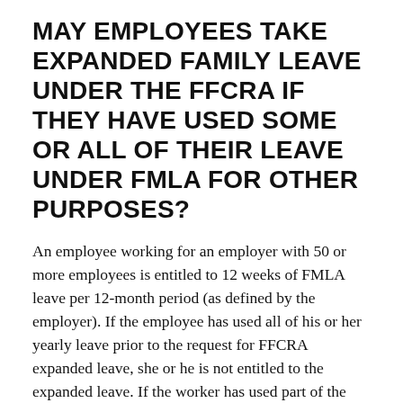MAY EMPLOYEES TAKE EXPANDED FAMILY LEAVE UNDER THE FFCRA IF THEY HAVE USED SOME OR ALL OF THEIR LEAVE UNDER FMLA FOR OTHER PURPOSES?
An employee working for an employer with 50 or more employees is entitled to 12 weeks of FMLA leave per 12-month period (as defined by the employer). If the employee has used all of his or her yearly leave prior to the request for FFCRA expanded leave, she or he is not entitled to the expanded leave. If the worker has used part of the yearly FMLA leave, he or she is entitled to take what's left as expanded family leave. Employers